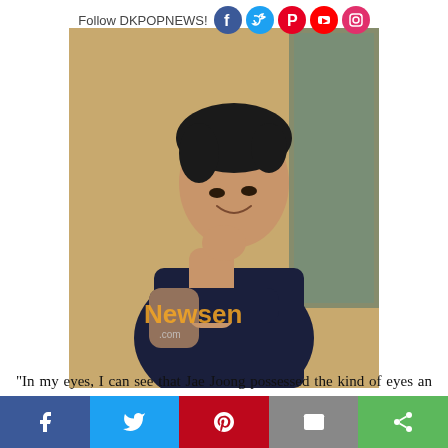Follow DKPOPNEWS!
[Figure (photo): Korean man in dark navy shirt posing against a sandy/tan textured wall, with a glass window visible on the right side. He is smiling and has one hand raised to his chin. Newsen.com watermark visible on the photo.]
“In my eyes, I can see that Jae Joong possessed the kind of eyes an actor has”